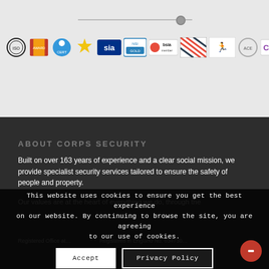[Figure (logo): A row of certification and accreditation logos/badges for Corps Security including SIA, BSIA, CHAS and others]
ABOUT CORPS SECURITY
Built on over 163 years of experience and a clear social mission, we provide specialist security services tailored to ensure the safety of people and property.
Our values are at the heart of everything we do, through the... that matter.
Registered Office at... Registered in England No. 034730...
This website uses cookies to ensure you get the best experience on our website. By continuing to browse the site, you are agreeing to our use of cookies.